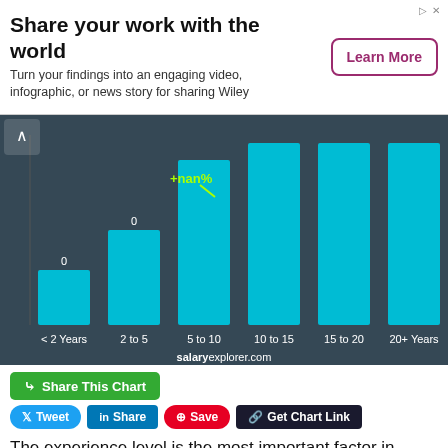[Figure (infographic): Advertisement banner: 'Share your work with the world' with Learn More button]
[Figure (bar-chart): Salary by experience]
Share This Chart
Tweet  Share  Save  Get Chart Link
The experience level is the most important factor in determining the salary. Naturally the more years of experience the higher your wage. We broke down Media Production Manager salary by experience...